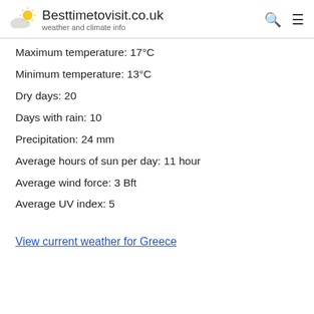Besttimetovisit.co.uk — weather and climate info
Maximum temperature: 17°C
Minimum temperature: 13°C
Dry days: 20
Days with rain: 10
Precipitation: 24 mm
Average hours of sun per day: 11 hour
Average wind force: 3 Bft
Average UV index: 5
View current weather for Greece